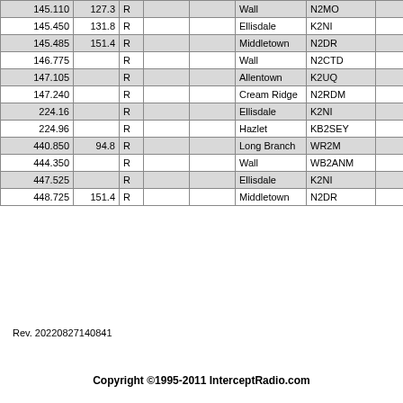| 145.110 | 127.3 | R |  |  | Wall | N2MO |  |
| 145.450 | 131.8 | R |  |  | Ellisdale | K2NI |  |
| 145.485 | 151.4 | R |  |  | Middletown | N2DR |  |
| 146.775 |  | R |  |  | Wall | N2CTD |  |
| 147.105 |  | R |  |  | Allentown | K2UQ |  |
| 147.240 |  | R |  |  | Cream Ridge | N2RDM |  |
| 224.16 |  | R |  |  | Ellisdale | K2NI |  |
| 224.96 |  | R |  |  | Hazlet | KB2SEY |  |
| 440.850 | 94.8 | R |  |  | Long Branch | WR2M |  |
| 444.350 |  | R |  |  | Wall | WB2ANM |  |
| 447.525 |  | R |  |  | Ellisdale | K2NI |  |
| 448.725 | 151.4 | R |  |  | Middletown | N2DR |  |
Rev. 20220827140841
Copyright ©1995-2011 InterceptRadio.com